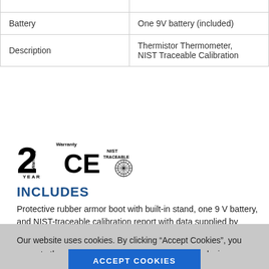| Battery | One 9V battery (included) |
| Description | Thermistor Thermometer, NIST Traceable Calibration |
[Figure (logo): 2 Year Warranty badge, CE mark, and NIST Traceable badge]
INCLUDES
Protective rubber armor boot with built-in stand, one 9 V battery, and NIST-traceable calibration report with data supplied by InnoCal. Data logging models 20250-92, -94, and -96 also include a
Our website uses cookies. By clicking “Accept Cookies”, you agree to the storing of cookies on your browser or device. Cookie Policy
ACCEPT COOKIES